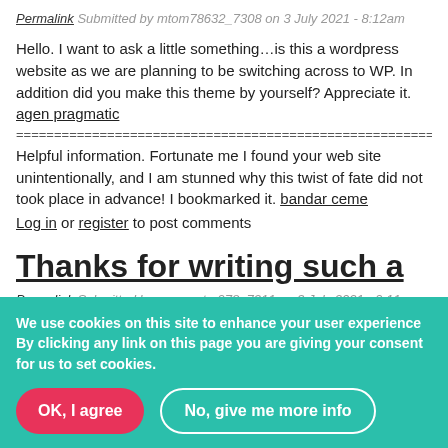Permalink Submitted by mtom78632_7308 on 3 July 2021 - 8:12am
Hello. I want to ask a little something…is this a wordpress website as we are planning to be switching across to WP. In addition did you make this theme by yourself? Appreciate it. agen pragmatic
================================================================
Helpful information. Fortunate me I found your web site unintentionally, and I am stunned why this twist of fate did not took place in advance! I bookmarked it. bandar ceme
Log in or register to post comments
Thanks for writing such a
Permalink Submitted by seomaster978_7211 on 3 July 2021 - 9:11am
We use cookies on this site to enhance your user experience By clicking any link on this page you are giving your consent for us to set cookies.